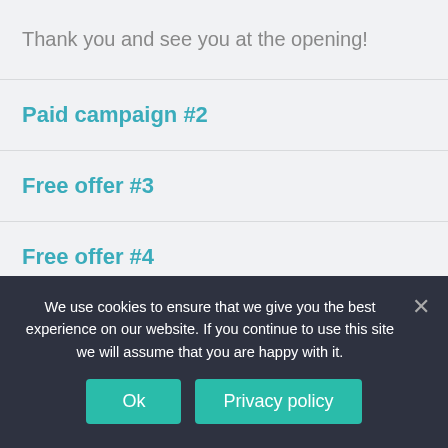Thank you and see you at the opening!
Paid campaign #2
Free offer #3
Free offer #4
Other posts
We use cookies to ensure that we give you the best experience on our website. If you continue to use this site we will assume that you are happy with it.